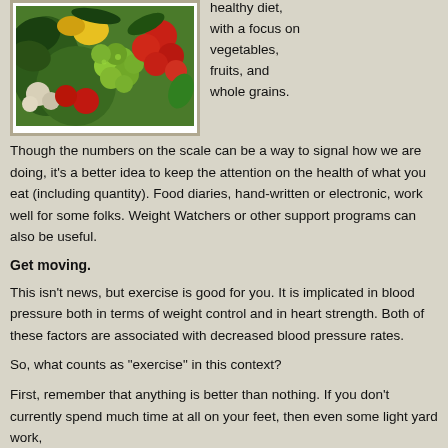[Figure (photo): A colorful assortment of vegetables and fruits including grapes, tomatoes, peppers, garlic, and other produce]
healthy diet, with a focus on vegetables, fruits, and whole grains.
Though the numbers on the scale can be a way to signal how we are doing, it's a better idea to keep the attention on the health of what you eat (including quantity). Food diaries, hand-written or electronic, work well for some folks. Weight Watchers or other support programs can also be useful.
Get moving.
This isn't news, but exercise is good for you. It is implicated in blood pressure both in terms of weight control and in heart strength. Both of these factors are associated with decreased blood pressure rates.
So, what counts as “exercise” in this context?
First, remember that anything is better than nothing. If you don't currently spend much time at all on your feet, then even some light yard work,